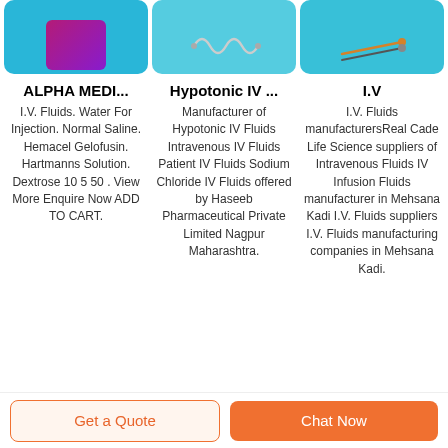[Figure (photo): Three product images on blue backgrounds: a purple box, IV tubing coil, and wire/connector]
ALPHA MEDI...
I.V. Fluids. Water For Injection. Normal Saline. Hemacel Gelofusin. Hartmanns Solution. Dextrose 10 5 50 . View More Enquire Now ADD TO CART.
Hypotonic IV ...
Manufacturer of Hypotonic IV Fluids Intravenous IV Fluids Patient IV Fluids Sodium Chloride IV Fluids offered by Haseeb Pharmaceutical Private Limited Nagpur Maharashtra.
I.V
I.V. Fluids manufacturersReal Cade Life Science suppliers of Intravenous Fluids IV Infusion Fluids manufacturer in Mehsana Kadi I.V. Fluids suppliers I.V. Fluids manufacturing companies in Mehsana Kadi.